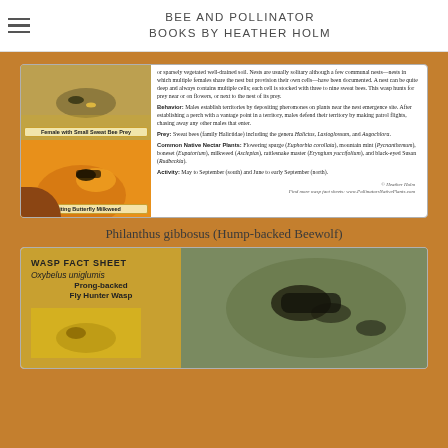BEE AND POLLINATOR BOOKS BY HEATHER HOLM
[Figure (photo): Wasp fact sheet for Philanthus gibbosus showing two photos: female with small sweat bee prey, and visiting butterfly milkweed. Text describes nesting, behavior, prey, common native nectar plants, and activity periods.]
Philanthus gibbosus (Hump-backed Beewolf)
[Figure (photo): Wasp fact sheet for Oxybelus uniglumis (Prong-backed Fly Hunter Wasp) showing partial view of the fact sheet with a photo of the wasp on a leaf.]